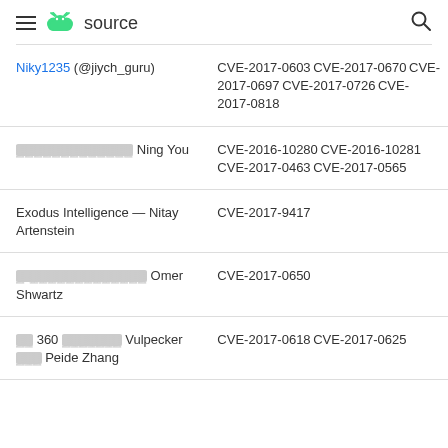≡ android source 🔍
| Researcher | CVEs |
| --- | --- |
| Niky1235 (@jiych_guru) | CVE-2017-0603　CVE-2017-0670　CVE-2017-0697　CVE-2017-0726　CVE-2017-0818 |
| [Chinese chars] Ning You | CVE-2016-10280　CVE-2016-10281　CVE-2017-0463　CVE-2017-0565 |
| Exodus Intelligence – Nitay Artenstein | CVE-2017-9417 |
| [chars] Omer Shwartz | CVE-2017-0650 |
| [chars] 360 [chars] Vulpecker [chars] Peide Zhang | CVE-2017-0618　CVE-2017-0625 |